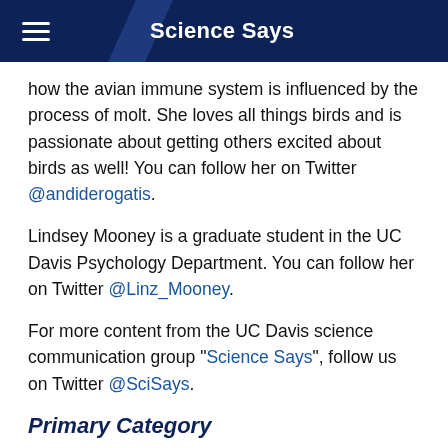Science Says
how the avian immune system is influenced by the process of molt. She loves all things birds and is passionate about getting others excited about birds as well! You can follow her on Twitter @andiderogatis.
Lindsey Mooney is a graduate student in the UC Davis Psychology Department. You can follow her on Twitter @Linz_Mooney.
For more content from the UC Davis science communication group "Science Says", follow us on Twitter @SciSays.
Primary Category
Science Says Bookclub